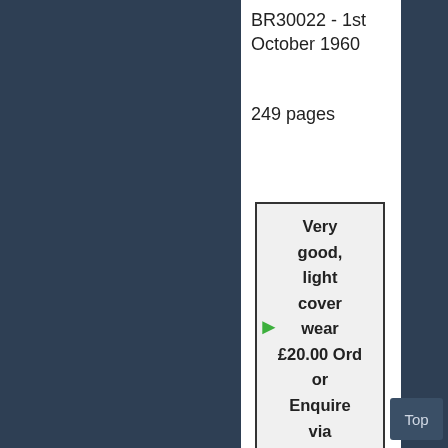BR30022 - 1st October 1960
249 pages
Very good, light cover wear £20.00 Ord or Enquire via email
Top